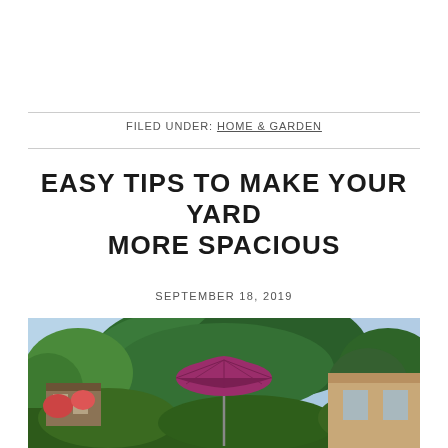FILED UNDER: HOME & GARDEN
EASY TIPS TO MAKE YOUR YARD MORE SPACIOUS
SEPTEMBER 18, 2019
[Figure (photo): A lush backyard garden with large green trees, flowering plants, and a dark pink/magenta patio umbrella visible in the center. A brick house is partially visible in the background on the right, and a garden structure is on the left.]